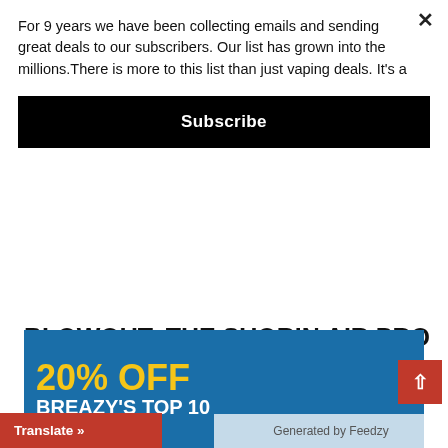For 9 years we have been collecting emails and sending great deals to our subscribers. Our list has grown into the millions.There is more to this list than just vaping deals. It's a
Subscribe
BLOWOUT: THE SUORIN AIR PRO – $24.30
The Suorin Air Pro is a tiny, lightweight pod device featuring an impressive vape juice capacity of 4.9ml. Built...
[Figure (other): Promotional banner: '20% OFF BREAZY'S TOP 10' on blue background with yellow and white text]
Translate »
Generated by Feedzy